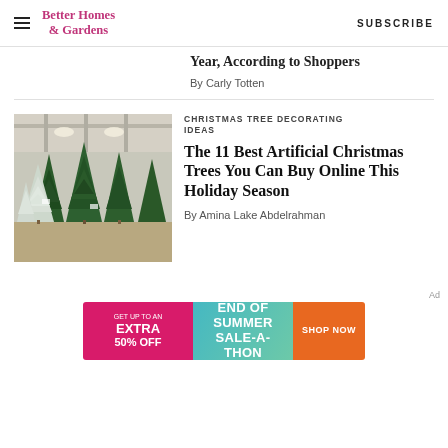Better Homes & Gardens | SUBSCRIBE
Year, According to Shoppers
By Carly Totten
CHRISTMAS TREE DECORATING IDEAS
The 11 Best Artificial Christmas Trees You Can Buy Online This Holiday Season
By Amina Lake Abdelrahman
[Figure (photo): Rows of artificial Christmas trees of various sizes and colors (green and white/flocked) displayed in a warehouse or showroom setting.]
[Figure (infographic): End of Summer Sale-a-Thon advertisement banner: pink left panel with 'GET UP TO AN EXTRA 50% OFF', teal/green center panel with 'END OF SUMMER SALE-A-THON', orange right panel with 'SHOP NOW' button.]